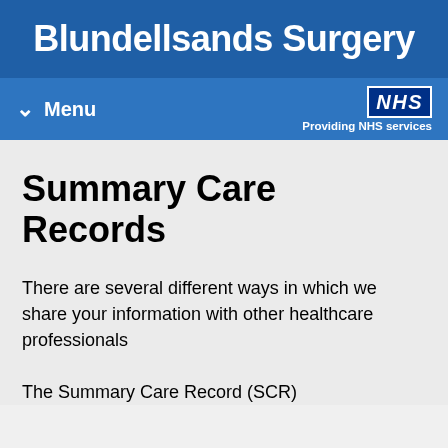Blundellsands Surgery
Menu | NHS Providing NHS services
Summary Care Records
There are several different ways in which we share your information with other healthcare professionals
The Summary Care Record (SCR)